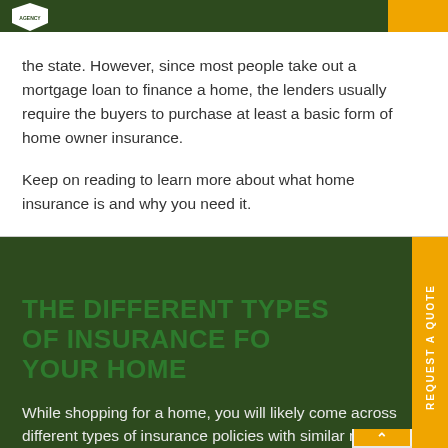the state. However, since most people take out a mortgage loan to finance a home, the lenders usually require the buyers to purchase at least a basic form of home owner insurance.
Keep on reading to learn more about what home insurance is and why you need it.
THE DIFFERENT TYPES OF INSURANCE FOR YOUR HOME
While shopping for a home, you will likely come across different types of insurance policies with similar names.